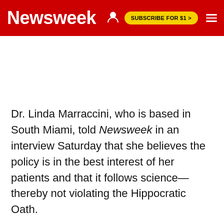Newsweek | SUBSCRIBE FOR $1 >
Dr. Linda Marraccini, who is based in South Miami, told Newsweek in an interview Saturday that she believes the policy is in the best interest of her patients and that it follows science—thereby not violating the Hippocratic Oath.